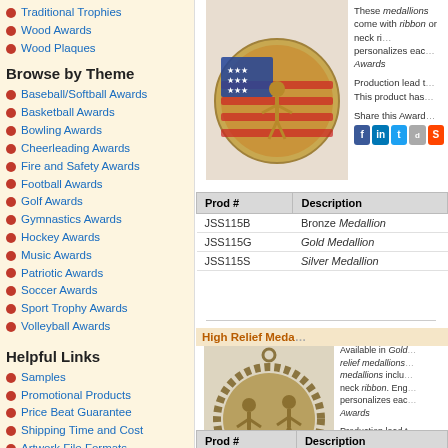Traditional Trophies
Wood Awards
Wood Plaques
Browse by Theme
Baseball/Softball Awards
Basketball Awards
Bowling Awards
Cheerleading Awards
Fire and Safety Awards
Football Awards
Golf Awards
Gymnastics Awards
Hockey Awards
Music Awards
Patriotic Awards
Soccer Awards
Sport Trophy Awards
Volleyball Awards
Helpful Links
Samples
Promotional Products
Price Beat Guarantee
Shipping Time and Cost
Artwork File Formats
Engraving Text Ideas
Store Policies
Privacy Policy
[Figure (photo): Cheerleading medallion with American flag design, gold color]
These medallions come with ribbon or neck ribbon. personalizes each Awards
Production lead t... This product has...
Share this Award
| Prod # | Description |
| --- | --- |
| JSS115B | Bronze Medallion |
| JSS115G | Gold Medallion |
| JSS115S | Silver Medallion |
[Figure (photo): High relief cheerleading medallion, antique gold color]
High Relief Meda...
Available in Gold... relief medallions ... medallions inclu... neck ribbon. Eng... personalizes eac... Awards
Production lead t... This product has...
Share this Award
| Prod # | Description |
| --- | --- |